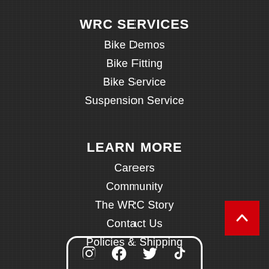WRC SERVICES
Bike Demos
Bike Fitting
Bike Service
Suspension Service
LEARN MORE
Careers
Community
The WRC Story
Contact Us
Policies & Shipping
[Figure (other): Red back-to-top button with upward chevron arrow in bottom-right corner]
[Figure (other): White rounded rectangle social media bar at bottom of page with social media icons]